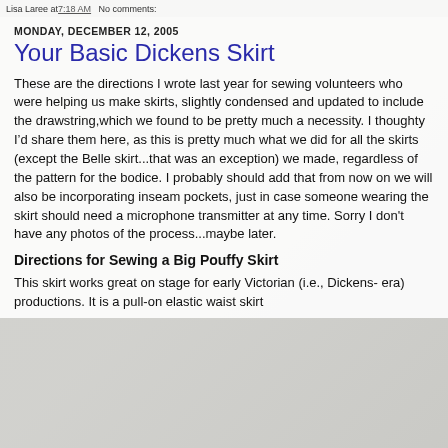Lisa Laree at 7:18 AM   No comments:
MONDAY, DECEMBER 12, 2005
Your Basic Dickens Skirt
These are the directions I wrote last year for sewing volunteers who were helping us make skirts, slightly condensed and updated to include the drawstring,which we found to be pretty much a necessity. I thoughty I’d share them here, as this is pretty much what we did for all the skirts (except the Belle skirt...that was an exception) we made, regardless of the pattern for the bodice. I probably should add that from now on we will also be incorporating inseam pockets, just in case someone wearing the skirt should need a microphone transmitter at any time. Sorry I don't have any photos of the process...maybe later.
Directions for Sewing a Big Pouffy Skirt
This skirt works great on stage for early Victorian (i.e., Dickens- era) productions. It is a pull-on elastic waist skirt